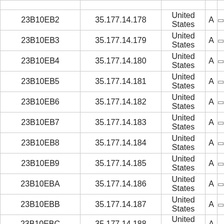|  |  |  |  |  |
| --- | --- | --- | --- | --- |
| 23B10EB2 | 35.177.14.178 | United States | A | 🔲 |
| 23B10EB3 | 35.177.14.179 | United States | A | 🔲 |
| 23B10EB4 | 35.177.14.180 | United States | A | 🔲 |
| 23B10EB5 | 35.177.14.181 | United States | A | 🔲 |
| 23B10EB6 | 35.177.14.182 | United States | A | 🔲 |
| 23B10EB7 | 35.177.14.183 | United States | A | 🔲 |
| 23B10EB8 | 35.177.14.184 | United States | A | 🔲 |
| 23B10EB9 | 35.177.14.185 | United States | A | 🔲 |
| 23B10EBA | 35.177.14.186 | United States | A | 🔲 |
| 23B10EBB | 35.177.14.187 | United States | A | 🔲 |
| 23B10EBC | 35.177.14.188 | United States | A |  |